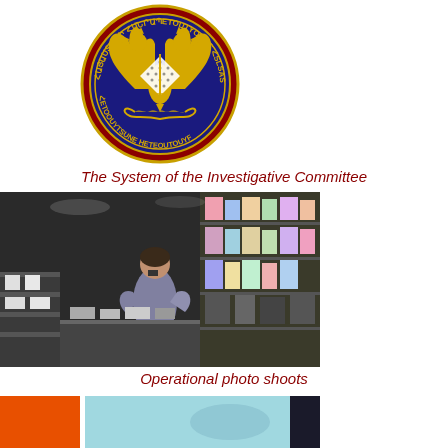[Figure (logo): Circular seal/emblem of the Investigative Committee of Armenia — dark blue circular badge with gold double-headed eagle, sword, laurel, and Armenian text around the border]
The System of the Investigative Committee
[Figure (photo): CCTV/surveillance camera footage showing a person standing in a retail store aisle with display shelves of products on both sides]
Operational photo shoots
[Figure (photo): Partial view of another operational photo — orange/red and light blue/teal colors visible at bottom of page]